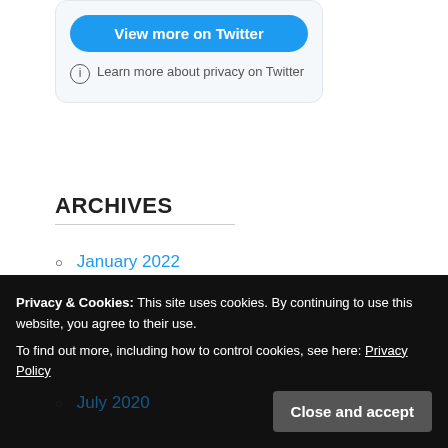[Figure (screenshot): Twitter embedded widget with 'View more on Twitter' button and 'Learn more about privacy on Twitter' info text on a light grey background with rounded corners]
ARCHIVES
January 2022
November 2021
October 2021
July 2020
Privacy & Cookies: This site uses cookies. By continuing to use this website, you agree to their use.
To find out more, including how to control cookies, see here: Privacy Policy
Close and accept